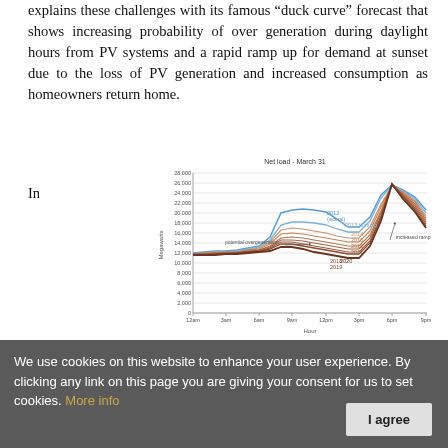explains these challenges with its famous “duck curve” forecast that shows increasing probability of over generation during daylight hours from PV systems and a rapid ramp up for demand at sunset due to the loss of PV generation and increased consumption as homeowners return home.
In
[Figure (continuous-plot): Duck curve chart showing net load in Megawatts on Y-axis (0 to 28,000) versus Hour on X-axis (12am to 9pm) for years 2012 (actual) through 2020. Multiple curves show increasing overgeneration potential during midday hours and steeper ramp-up at sunset in later years. Labels include 'potential overgeneration' and 'increased ramp'.]
We use cookies on this website to enhance your user experience. By clicking any link on this page you are giving your consent for us to set cookies. More info